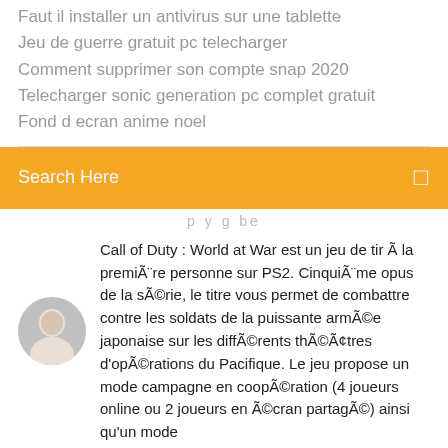Faut il installer un antivirus sur une tablette
Jeu de guerre gratuit pc telecharger
Comment supprimer son compte snap 2020
Telecharger sonic generation pc complet gratuit
Fond d ecran anime noel
[Figure (screenshot): Orange search bar with 'Search Here' placeholder text and a search icon on the right]
p y g be
Call of Duty : World at War est un jeu de tir Ã  la premiÃ¨re personne sur PS2. CinquiÃ¨me opus de la sÃ©rie, le titre vous permet de combattre contre les soldats de la puissante armÃ©e japonaise sur les diffÃ©rents thÃ©Ã¢tres d'opÃ©rations du Pacifique. Le jeu propose un mode campagne en coopÃ©ration (4 joueurs online ou 2 joueurs en Ã©cran partagÃ©) ainsi qu'un mode